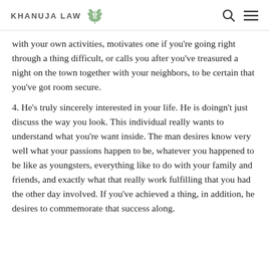KHANUJA LAW
with your own activities, motivates one if you're going right through a thing difficult, or calls you after you've treasured a night on the town together with your neighbors, to be certain that you've got room secure.
4. He's truly sincerely interested in your life. He is doingn't just discuss the way you look. This individual really wants to understand what you're want inside. The man desires know very well what your passions happen to be, whatever you happened to be like as youngsters, everything like to do with your family and friends, and exactly what that really work fulfilling that you had the other day involved. If you've achieved a thing, in addition, he desires to commemorate that success along.